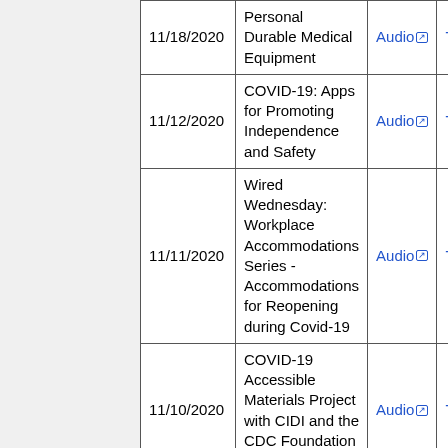| Date | Title | Audio |  |
| --- | --- | --- | --- |
| 11/18/2020 | Personal Durable Medical Equipment | Audio | T |
| 11/12/2020 | COVID-19: Apps for Promoting Independence and Safety | Audio | T |
| 11/11/2020 | Wired Wednesday: Workplace Accommodations Series - Accommodations for Reopening during Covid-19 | Audio | T |
| 11/10/2020 | COVID-19 Accessible Materials Project with CIDI and the CDC Foundation Partner | Audio | T |